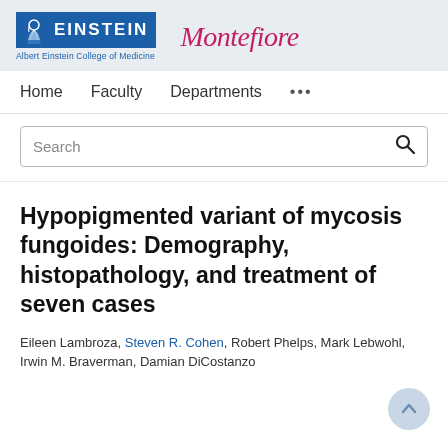[Figure (logo): Albert Einstein College of Medicine and Montefiore logos side by side on a light blue-grey header background]
Home   Faculty   Departments   ...
Search
Hypopigmented variant of mycosis fungoides: Demography, histopathology, and treatment of seven cases
Eileen Lambroza, Steven R. Cohen, Robert Phelps, Mark Lebwohl, Irwin M. Braverman, Damian DiCostanzo